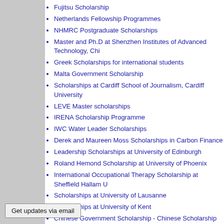Fujitsu Scholarship
Netherlands Fellowship Programmes
NHMRC Postgraduate Scholarships
Master and Ph.D at Shenzhen Institutes of Advanced Technology, Chi...
Greek Scholarships for international students
Malta Government Scholarship
Scholarships at Cardiff School of Journalism, Cardiff University
LEVE Master scholarships
IRENA Scholarship Programme
IWC Water Leader Scholarships
Derek and Maureen Moss Scholarships in Carbon Finance
Leadership Scholarships at University of Edinburgh
Roland Hemond Scholarship at University of Phoenix
International Occupational Therapy Scholarship at Sheffield Hallam U...
Scholarships at University of Lausanne
Scholarships at University of Kent
Chinese Government Scholarship - Chinese Scholarship Council
Harbin Engineering University Scholarship
Get updates via email